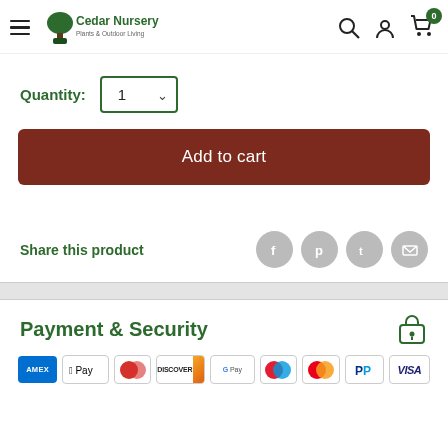Cedar Nursery – Plants & Outdoor Living – navigation header with search, account, cart
Quantity: 1
Add to cart
Share this product
Payment & Security
[Figure (infographic): Payment method logos: AMEX, Apple Pay, Diners Club, Discover, Google Pay, Maestro, Mastercard, PayPal, VISA]